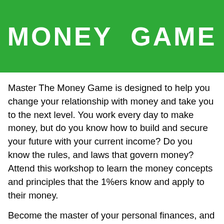MONEY GAME
Master The Money Game is designed to help you change your relationship with money and take you to the next level. You work every day to make money, but do you know how to build and secure your future with your current income? Do you know the rules, and laws that govern money? Attend this workshop to learn the money concepts and principles that the 1%ers know and apply to their money.
Become the master of your personal finances, and forever change your relationship with money right now.
What will you learn from Mastering The Money Game: